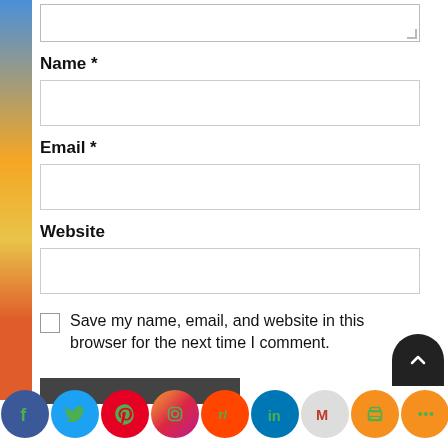Name *
Email *
Website
Save my name, email, and website in this browser for the next time I comment.
[Figure (infographic): Social media sharing buttons bar at bottom: Facebook (blue), Twitter (blue), Pinterest (red), Instagram (purple/orange), Reddit (orange-red), LinkedIn (blue), Gmail (grey/red), Print (orange), Share (orange). Also a dark back-to-top arrow button.]